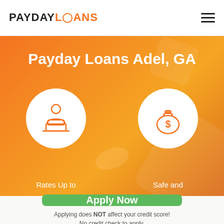PAYDAY LOANS
Payday Loans Adel, GA
[Figure (illustration): Orange hero banner with two white circles containing icons: a person at a laptop (left) and a money bag with dollar sign (right). Decorative bird/feather shape in center. Text partially visible at bottom: 'Rates Up to' and 'Safe and'.]
Apply Now
Applying does NOT affect your credit score!
No credit check to apply.